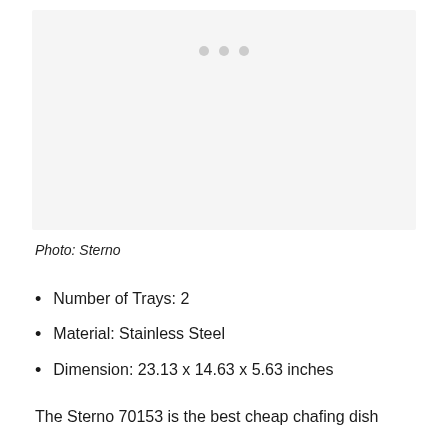[Figure (photo): Product photo placeholder with three dots indicating image carousel, light gray background]
Photo: Sterno
Number of Trays: 2
Material: Stainless Steel
Dimension: 23.13 x 14.63 x 5.63 inches
The Sterno 70153 is the best cheap chafing dish